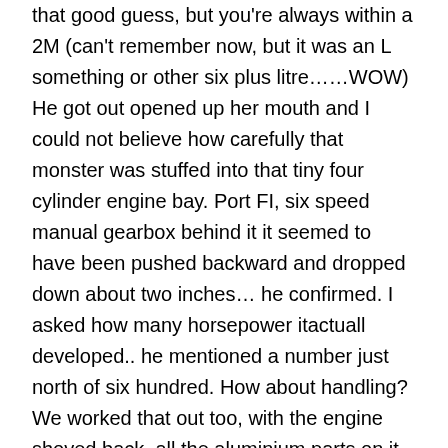that good guess, but you're always within a 2M (can't remember now, but it was an L something or other six plus litre……WOW) He got out opened up her mouth and I could not believe how carefully that monster was stuffed into that tiny four cylinder engine bay. Port FI, six speed manual gearbox behind it it seemed to have been pushed backward and dropped down about two inches… he confirmed. I asked how many horsepower itactuall developed.. he mentioned a number just north of six hundred. How about handling? We worked that out too, with the engine shoved back, all the aluminium parts on it, and dropped a couple inches, and the gearbox shoved aft along with it, the balance is actually better than the stock four hole Miata. I asked him how fast it would go, and he said I dont know yet engine is still in the run-in period. But I;m guessing it will be around 150 or